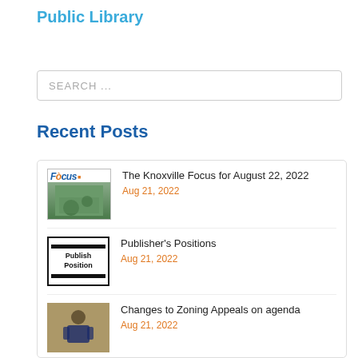Public Library
SEARCH ...
Recent Posts
The Knoxville Focus for August 22, 2022
Aug 21, 2022
Publisher's Positions
Aug 21, 2022
Changes to Zoning Appeals on agenda
Aug 21, 2022